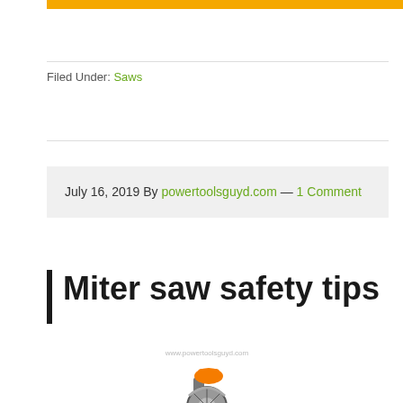Filed Under: Saws
July 16, 2019 By powertoolsguyd.com — 1 Comment
Miter saw safety tips
[Figure (photo): A miter saw (compound miter saw) with orange and grey coloring, shown from a front-side angle. Watermark text reads www.powertoolsguyd.com.]